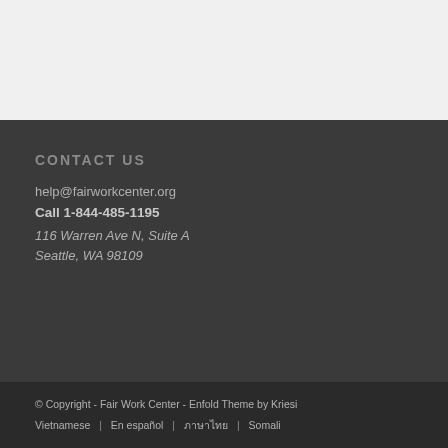CONTACT US
help@fairworkcenter.org
Call 1-844-485-1195
116 Warren Ave N, Suite A
Seattle, WA 98109
© Copyright - Fair Work Center - Enfold Theme by Kriesi
Vietnamese | En español | ภาษาไทย | Somali